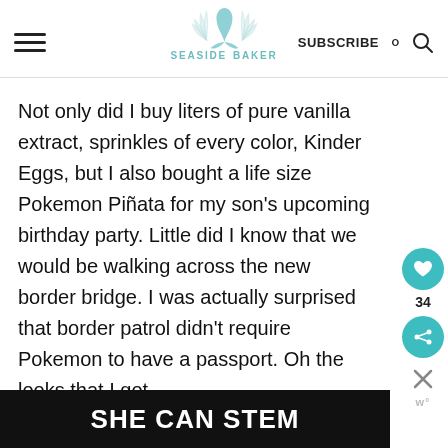SEASIDE BAKER — SUBSCRIBE
Not only did I buy liters of pure vanilla extract, sprinkles of every color, Kinder Eggs, but I also bought a life size Pokemon Piñata for my son's upcoming birthday party. Little did I know that we would be walking across the new border bridge. I was actually surprised that border patrol didn't require Pokemon to have a passport. Oh the looks that I got
[Figure (other): SHE CAN STEM advertisement banner — dark background with bold white text]